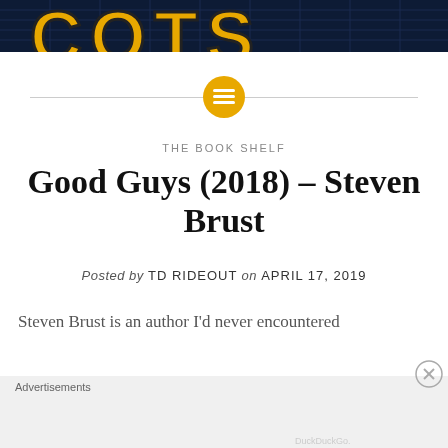[Figure (screenshot): Partial website logo/header banner — dark navy background with large yellow stylized block letters partially visible at top]
[Figure (other): Gold circular icon with menu/list lines symbol, centered on horizontal divider line]
THE BOOK SHELF
Good Guys (2018) – Steven Brust
Posted by TD RIDEOUT on APRIL 17, 2019
Steven Brust is an author I'd never encountered
[Figure (screenshot): DuckDuckGo advertisement — orange background with text 'Search, browse, and email with more privacy. All in One Free App' and image of a smartphone showing DuckDuckGo app]